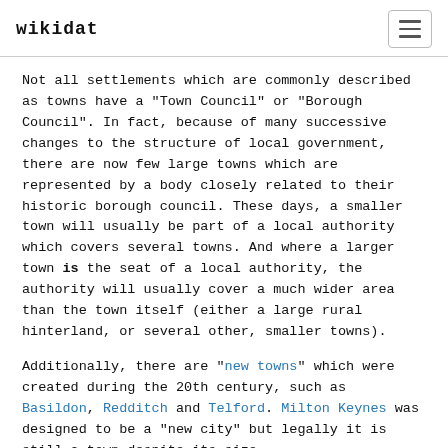wikidat
Not all settlements which are commonly described as towns have a "Town Council" or "Borough Council". In fact, because of many successive changes to the structure of local government, there are now few large towns which are represented by a body closely related to their historic borough council. These days, a smaller town will usually be part of a local authority which covers several towns. And where a larger town is the seat of a local authority, the authority will usually cover a much wider area than the town itself (either a large rural hinterland, or several other, smaller towns).
Additionally, there are "new towns" which were created during the 20th century, such as Basildon, Redditch and Telford. Milton Keynes was designed to be a "new city" but legally it is still a town despite its size.